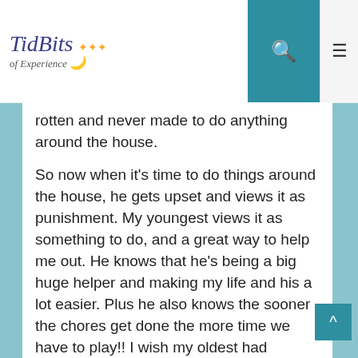TidBits of Experience
rotten and never made to do anything around the house.
So now when it's time to do things around the house, he gets upset and views it as punishment. My youngest views it as something to do, and a great way to help me out. He knows that he's being a big huge helper and making my life and his a lot easier. Plus he also knows the sooner the chores get done the more time we have to play!! I wish my oldest had learned to appreciate how much fun and valuable his assistance on the little things is...